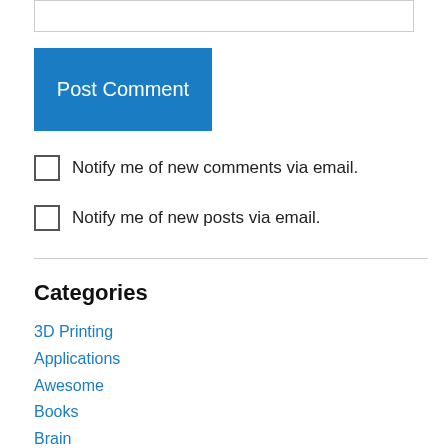[text input box]
Post Comment
Notify me of new comments via email.
Notify me of new posts via email.
Categories
3D Printing
Applications
Awesome
Books
Brain
Brilliant words
Geek Stuff
Hello Kitty